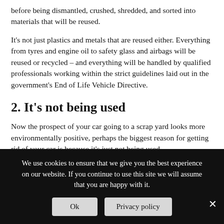before being dismantled, crushed, shredded, and sorted into materials that will be reused.
It's not just plastics and metals that are reused either. Everything from tyres and engine oil to safety glass and airbags will be reused or recycled – and everything will be handled by qualified professionals working within the strict guidelines laid out in the government's End of Life Vehicle Directive.
2.  It's not being used
Now the prospect of your car going to a scrap yard looks more environmentally positive, perhaps the biggest reason for getting rid of your car is because it's just not being used.
We use cookies to ensure that we give you the best experience on our website. If you continue to use this site we will assume that you are happy with it.